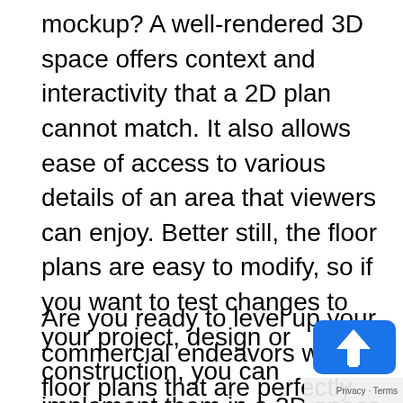mockup? A well-rendered 3D space offers context and interactivity that a 2D plan cannot match. It also allows ease of access to various details of an area that viewers can enjoy. Better still, the floor plans are easy to modify, so if you want to test changes to your project, design or construction, you can implement them in a 3D space to save on time, costs, and resources, which can tighten your final design.
Are you ready to level up your commercial endeavors with 3D floor plans that are perfectly functional yet also jaw-droppingly beautiful? SONNY+ASH is just a phone call away from providing you with the results you need. For more information on how our 3D floor plans, architectural rendering, or other services can